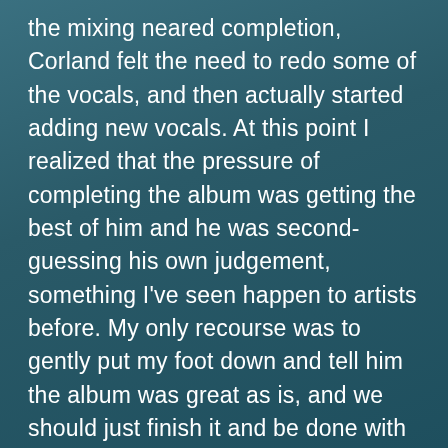the mixing neared completion, Corland felt the need to redo some of the vocals, and then actually started adding new vocals. At this point I realized that the pressure of completing the album was getting the best of him and he was second-guessing his own judgement, something I've seen happen to artists before. My only recourse was to gently put my foot down and tell him the album was great as is, and we should just finish it and be done with it. Fortunately, he listened, the mixes were finished, and sent off to Jordan Disrobo for mastering.

At this point I was pretty burnt out on the project, and put no more thought into it until the